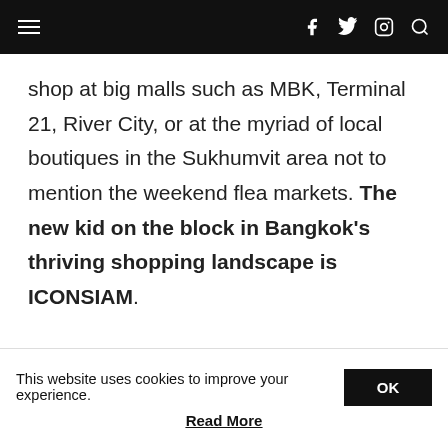Navigation bar with hamburger menu, social icons (f, twitter, instagram) and search
shop at big malls such as MBK, Terminal 21, River City, or at the myriad of local boutiques in the Sukhumvit area not to mention the weekend flea markets. The new kid on the block in Bangkok's thriving shopping landscape is ICONSIAM.
ICONSIAM opened as recently as Nov 2018 and I was lucky that I visited Bangkok soon
This website uses cookies to improve your experience.  OK
Read More